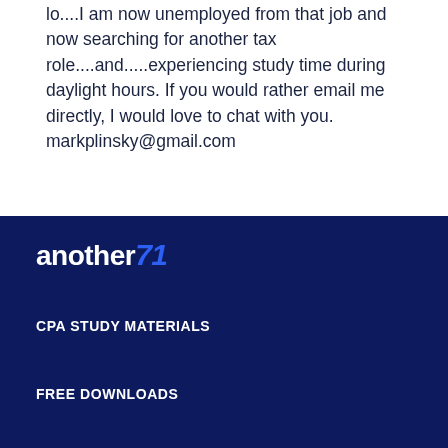lo....I am now unemployed from that job and now searching for another tax role....and.....experiencing study time during daylight hours. If you would rather email me directly, I would love to chat with you. markplinsky@gmail.com
[Figure (logo): another71 logo — white text 'another' with blue italic '71' on dark navy background]
CPA STUDY MATERIALS
FREE DOWNLOADS